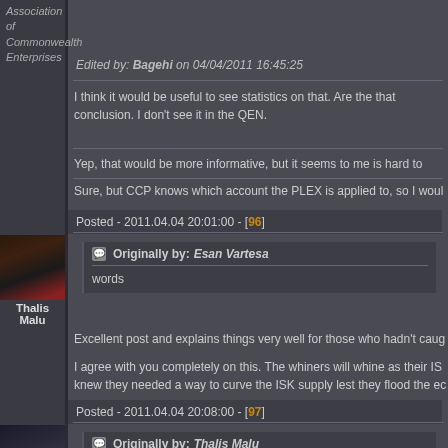Association of Commonwealth Enterprises
Edited by: Bagehi on 04/04/2011 16:45:25
I think it would be useful to see statistics on that. Are the that conclusion. I don't see it in the QEN.
Yep, that would be more informative, but it seems to me is hard to
Sure, but CCP knows which account the PLEX is applied to, so I woul
Posted - 2011.04.04 20:01:00 - [96]
Thalis Malu
Originally by: Esan Vartesa
words
Excellent post and explains things very well for those who hadn't caug
I agree with you completely on this. The whiners will whine as their IS knew they needed a way to curve the ISK supply lest they flood the ec
Posted - 2011.04.04 20:08:00 - [97]
Originally by: Thalis Malu